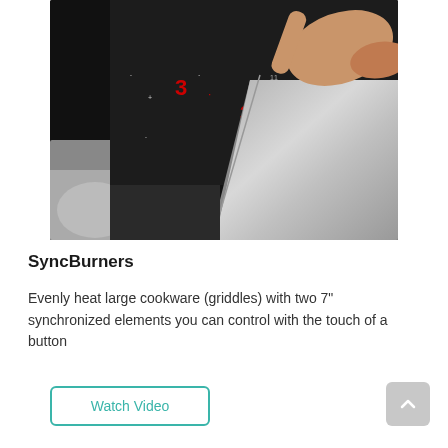[Figure (photo): Close-up photo of a hand touching controls on a black induction cooktop with red LED number displays and a stainless steel surface.]
SyncBurners
Evenly heat large cookware (griddles) with two 7" synchronized elements you can control with the touch of a button
Watch Video